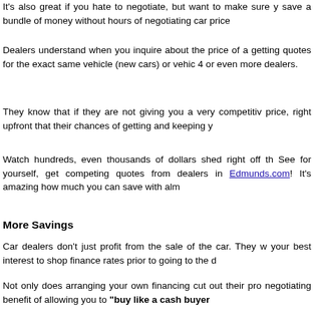It's also great if you hate to negotiate, but want to make sure you save a bundle of money without hours of negotiating car price
Dealers understand when you inquire about the price of a getting quotes for the exact same vehicle (new cars) or vehic 4 or even more dealers.
They know that if they are not giving you a very competitive price, right upfront that their chances of getting and keeping y
Watch hundreds, even thousands of dollars shed right off the See for yourself, get competing quotes from dealers in Edmunds.com! It's amazing how much you can save with alm
More Savings
Car dealers don't just profit from the sale of the car. They w your best interest to shop finance rates prior to going to the d
Not only does arranging your own financing cut out their pro negotiating benefit of allowing you to "buy like a cash buyer
The ability to buy like a cash buyer is a very powerful strate tell them that you are paying cash and want the best price o